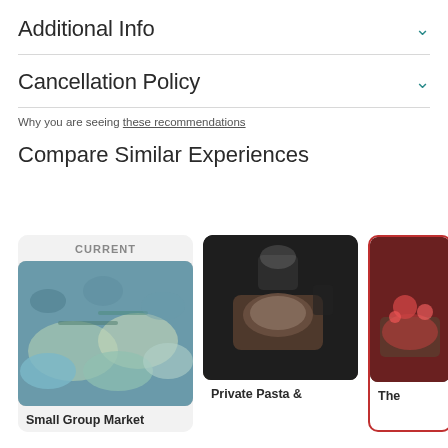Additional Info
Cancellation Policy
Why you are seeing these recommendations
Compare Similar Experiences
[Figure (photo): Card showing seafood market photo labeled CURRENT with title Small Group Market]
[Figure (photo): Card showing private pasta cooking class photo with title Private Pasta &]
[Figure (photo): Partially visible third card with red border and food photo titled The]